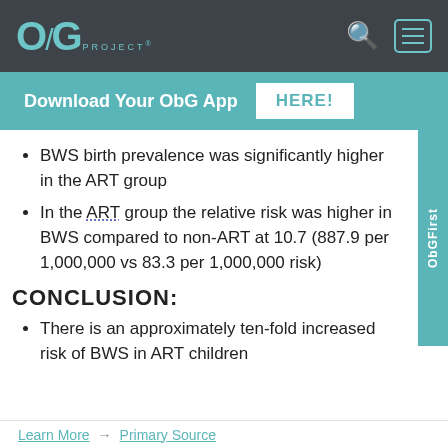ObG PROJECT® [search icon] [menu icon]
Download Your ObG App HERE!
BWS birth prevalence was significantly higher in the ART group
In the ART group the relative risk was higher in BWS compared to non-ART at 10.7 (887.9 per 1,000,000 vs 83.3 per 1,000,000 risk)
CONCLUSION:
There is an approximately ten-fold increased risk of BWS in ART children
Learn More   Primary Source